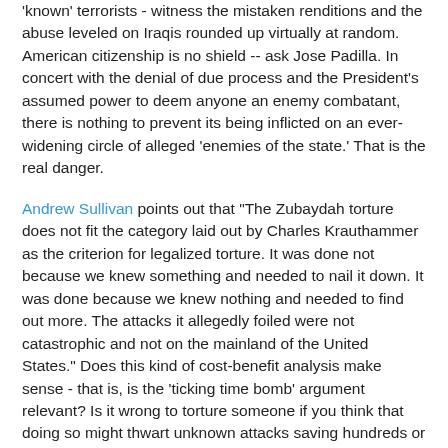'known' terrorists - witness the mistaken renditions and the abuse leveled on Iraqis rounded up virtually at random. American citizenship is no shield -- ask Jose Padilla. In concert with the denial of due process and the President's assumed power to deem anyone an enemy combatant, there is nothing to prevent its being inflicted on an ever-widening circle of alleged 'enemies of the state.' That is the real danger.
Andrew Sullivan points out that "The Zubaydah torture does not fit the category laid out by Charles Krauthammer as the criterion for legalized torture. It was done not because we knew something and needed to nail it down. It was done because we knew nothing and needed to find out more. The attacks it allegedly foiled were not catastrophic and not on the mainland of the United States." Does this kind of cost-benefit analysis make sense - that is, is the 'ticking time bomb' argument relevant? Is it wrong to torture someone if you think that doing so might thwart unknown attacks saving hundreds or thousands of lives, but right to torture in an attempt to thwart an attack known to be pending that might take hundreds of thousands or millions of lives? I think the answer is that the '24' scenario is a false choice, highly